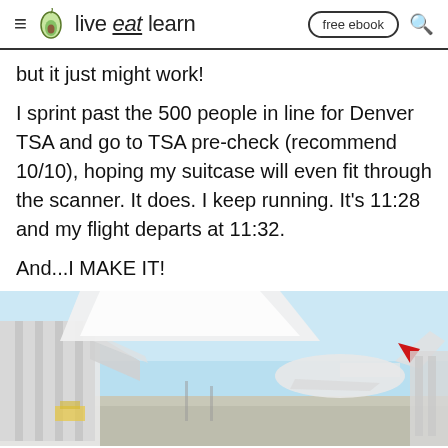live eat learn — free ebook
but it just might work!
I sprint past the 500 people in line for Denver TSA and go to TSA pre-check (recommend 10/10), hoping my suitcase will even fit through the scanner. It does. I keep running. It's 11:28 and my flight departs at 11:32.
And...I MAKE IT!
[Figure (photo): View through airport terminal window showing airplane jet bridge and Delta aircraft on tarmac under a blue sky]